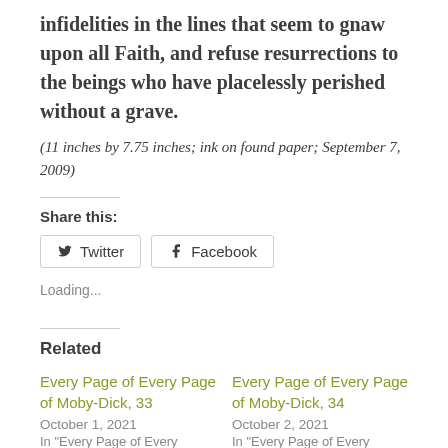infidelities in the lines that seem to gnaw upon all Faith, and refuse resurrections to the beings who have placelessly perished without a grave.
(11 inches by 7.75 inches; ink on found paper; September 7, 2009)
Share this:
Twitter Facebook
Loading...
Related
Every Page of Every Page of Moby-Dick, 33
October 1, 2021
In "Every Page of Every
Every Page of Every Page of Moby-Dick, 34
October 2, 2021
In "Every Page of Every